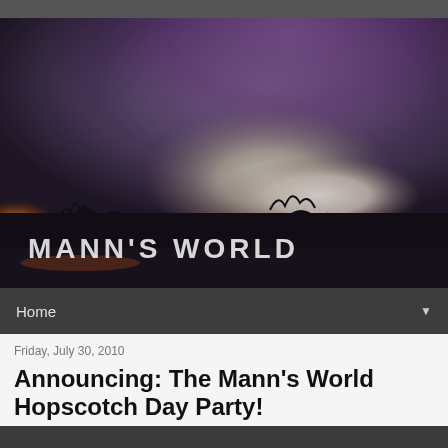[Figure (photo): Dramatic sunset/twilight sky photograph with purple, orange and white hues, silhouetted trees along the horizon, with 'MANN'S WORLD' text overlay in stylized font at bottom left]
Home ▼
Friday, July 30, 2010
Announcing: The Mann's World Hopscotch Day Party!